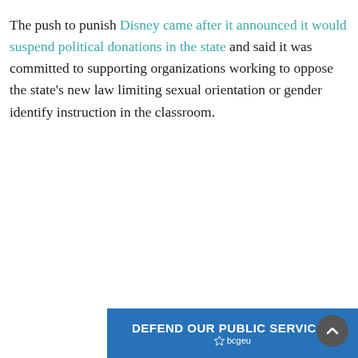The push to punish Disney came after it announced it would suspend political donations in the state and said it was committed to supporting organizations working to oppose the state's new law limiting sexual orientation or gender identify instruction in the classroom.
[Figure (other): Blue advertisement banner reading 'DEFEND OUR PUBLIC SERVICES' with bcgeu logo/text below, and a circular scroll-to-top button on the right side.]